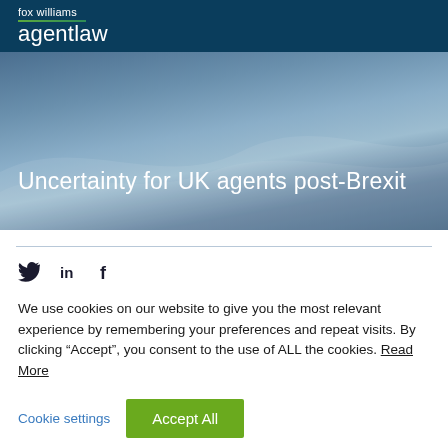fox williams agentlaw
Uncertainty for UK agents post-Brexit
[Figure (other): Social media icons: Twitter bird, LinkedIn in, Facebook f]
We use cookies on our website to give you the most relevant experience by remembering your preferences and repeat visits. By clicking “Accept”, you consent to the use of ALL the cookies. Read More
Cookie settings | Accept All